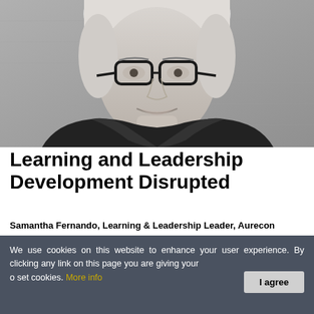[Figure (photo): Black and white professional headshot of Samantha Fernando, a woman with blonde hair wearing glasses and a dark blazer, smiling at the camera.]
Learning and Leadership Development Disrupted
Samantha Fernando, Learning & Leadership Leader, Aurecon
We use cookies on this website to enhance your user experience. By clicking any link on this page you are giving your consent for us to set cookies. More info